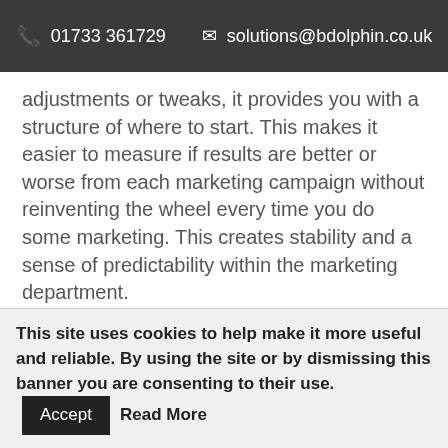📞 01733 361729   ✉ solutions@bdolphin.co.uk
adjustments or tweaks, it provides you with a structure of where to start. This makes it easier to measure if results are better or worse from each marketing campaign without reinventing the wheel every time you do some marketing. This creates stability and a sense of predictability within the marketing department.
We have seen many instances where Managing Directors ( with limited marketing experience), behave in an irrational way when it comes to
This site uses cookies to help make it more useful and reliable. By using the site or by dismissing this banner you are consenting to their use. Accept  Read More